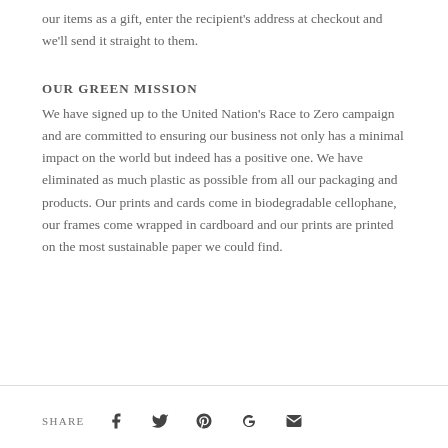our items as a gift, enter the recipient's address at checkout and we'll send it straight to them.
OUR GREEN MISSION
We have signed up to the United Nation's Race to Zero campaign and are committed to ensuring our business not only has a minimal impact on the world but indeed has a positive one. We have eliminated as much plastic as possible from all our packaging and products. Our prints and cards come in biodegradable cellophane, our frames come wrapped in cardboard and our prints are printed on the most sustainable paper we could find.
SHARE